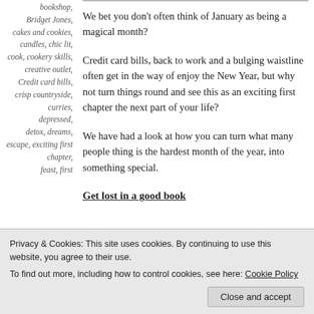bookshop, Bridget Jones, cakes and cookies, candles, chic lit, cook, cookery skills, creative outlet, Credit card bills, crisp countryside, curries, depressed, detox, dreams, escape, exciting first chapter, feast, first
We bet you don't often think of January as being a magical month?
Credit card bills, back to work and a bulging waistline often get in the way of enjoy the New Year, but why not turn things round and see this as an exciting first chapter the next part of your life?
We have had a look at how you can turn what many people thing is the hardest month of the year, into something special.
Get lost in a good book
you escape from the trappings of modern life and an
Privacy & Cookies: This site uses cookies. By continuing to use this website, you agree to their use.
To find out more, including how to control cookies, see here: Cookie Policy